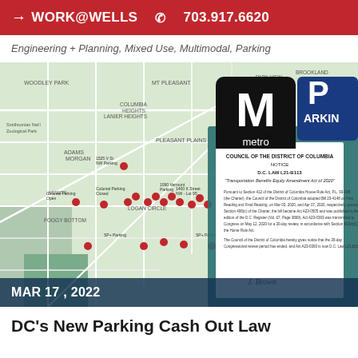→ WORK@WELLS  ☎ 703.917.6620
Engineering + Planning, Mixed Use, Multimodal, Parking
[Figure (map): Composite image showing a DC street map with parking location pins, overlaid with the Washington Metro 'M' logo, a blue PARKING sign, and a scanned document titled 'COUNCIL OF THE DISTRICT OF COLUMBIA NOTICE D.C. LAW L21-B113 Transportation Benefits Equity Amendment Act of 2020'. Date label MAR 17, 2022 on dark blue footer bar.]
DC's New Parking Cash Out Law